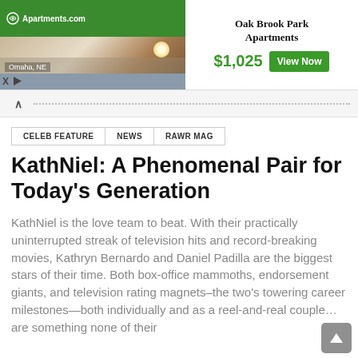[Figure (screenshot): Apartments.com advertisement banner showing Oak Brook Park Apartments in Omaha, NE for $1,025 with a View Now button and a kitchen photo]
CELEB FEATURE   NEWS   RAWR MAG
KathNiel: A Phenomenal Pair for Today's Generation
KathNiel is the love team to beat. With their practically uninterrupted streak of television hits and record-breaking movies, Kathryn Bernardo and Daniel Padilla are the biggest stars of their time. Both box-office mammoths, endorsement giants, and television rating magnets–the two's towering career milestones—both individually and as a reel-and-real couple... are something none of their